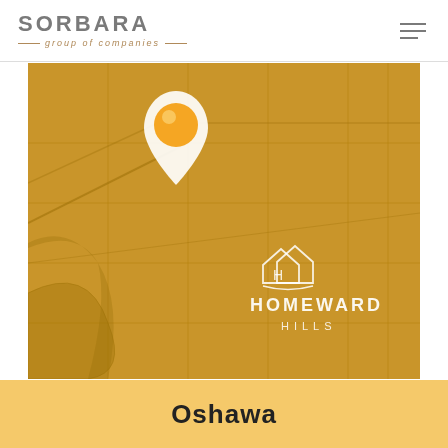[Figure (logo): Sorbara Group of Companies logo — company name in bold gray capitals with italic tagline 'group of companies' in gold below, flanked by decorative lines]
[Figure (map): Aerial map view with golden-brown color overlay showing a subdivision/land area, with an orange map pin marker in the upper portion and Homeward Hills logo (house icon outline) and text in lower-right area]
Oshawa